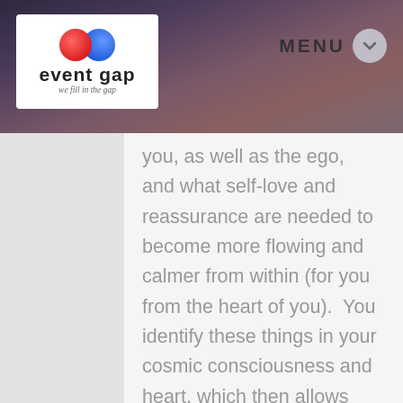Event Gap — we fill in the gap | MENU
you, as well as the ego, and what self-love and reassurance are needed to become more flowing and calmer from within (for you from the heart of you).  You identify these things in your cosmic consciousness and heart, which then allows you to grow beyond in the concepts you explore, as well as the unconditional love and neutrality in duality needed to expand even further in time to more of your infinite higher human potential in your every day (from